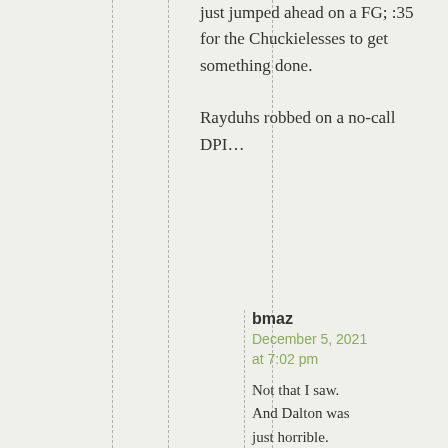just jumped ahead on a FG; :35 for the Chuckielesses to get something done.

Rayduhs robbed on a no-call DPI…
bmaz
December 5, 2021 at 7:02 pm

Not that I saw. And Dalton was just horrible.